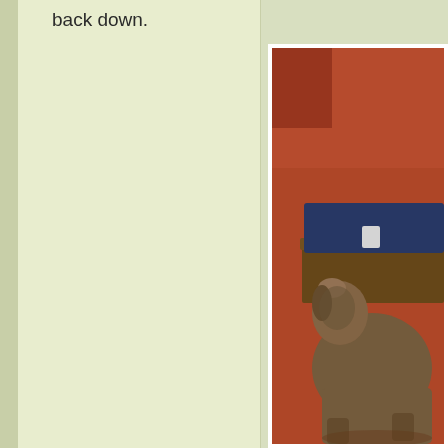back down.
[Figure (photo): A dog looking up at a piece of furniture (wooden shelf or stand) with a blue cushion/item on it, set against a reddish-orange wall. The photo is partially cropped on the right side.]